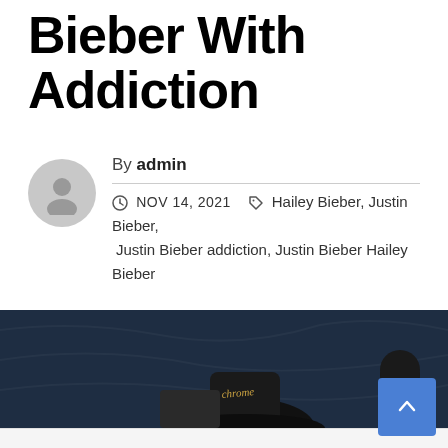Bieber With Addiction
By admin  NOV 14, 2021  Hailey Bieber, Justin Bieber, Justin Bieber addiction, Justin Bieber Hailey Bieber
[Figure (photo): Photo of people against a dark fabric background, partially cropped, showing figures wearing black clothing including a hat with text.]